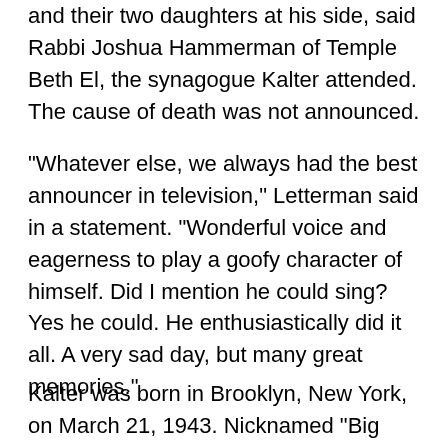and their two daughters at his side, said Rabbi Joshua Hammerman of Temple Beth El, the synagogue Kalter attended. The cause of death was not announced.
"Whatever else, we always had the best announcer in television," Letterman said in a statement. "Wonderful voice and eagerness to play a goofy character of himself. Did I mention he could sing? Yes he could. He enthusiastically did it all. A very sad day, but many great memories."
Kalter was born in Brooklyn, New York, on March 21, 1943. Nicknamed "Big Red" for his hair, he provided the opening introductions on the "Late Show with David Letterman" on CBS from